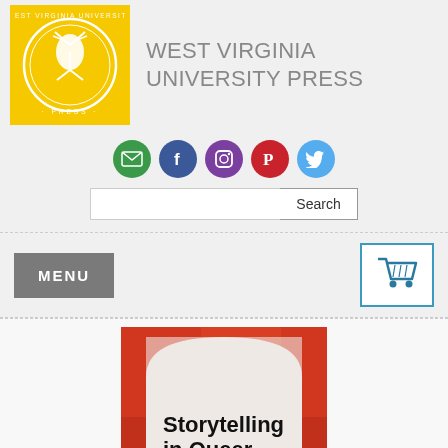[Figure (logo): West Virginia University Press logo - golden yellow square with circular seal/emblem in white]
WEST VIRGINIA UNIVERSITY PRESS
[Figure (infographic): Social media icons row: email (green), Facebook (blue), Instagram (purple), Pinterest (red), Twitter (light blue)]
[Figure (screenshot): Search input field with Search button]
MENU
[Figure (infographic): Shopping cart icon in teal/blue border button]
[Figure (photo): Book cover: Storytelling in Queer Appalachia - Imagining and... Red and white background with bold black text on white arch shape]